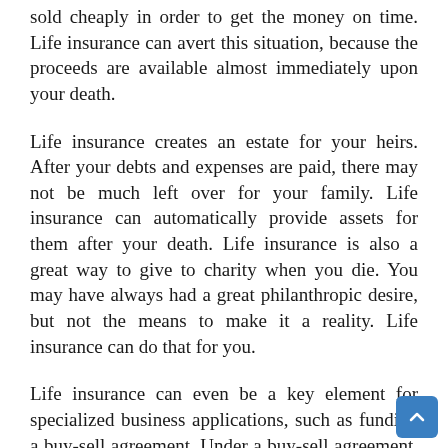sold cheaply in order to get the money on time. Life insurance can avert this situation, because the proceeds are available almost immediately upon your death.
Life insurance creates an estate for your heirs. After your debts and expenses are paid, there may not be much left over for your family. Life insurance can automatically provide assets for them after your death. Life insurance is also a great way to give to charity when you die. You may have always had a great philanthropic desire, but not the means to make it a reality. Life insurance can do that for you.
Life insurance can even be a key element for specialized business applications, such as funding a buy-sell agreement. Under a buy-sell agreement, life insurance can be used to provide cash for the purchase of a deceased owner's interest in the business. Finally, life